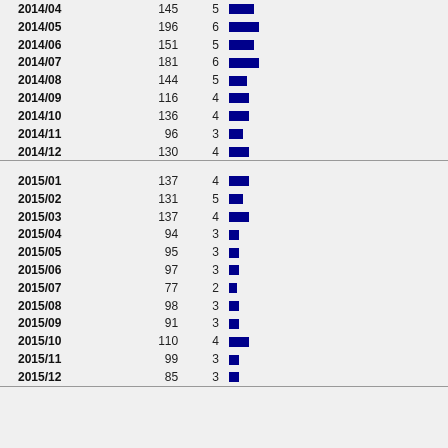| Date | Count | % | Bar |
| --- | --- | --- | --- |
| 2014/04 | 145 | 5 |  |
| 2014/05 | 196 | 6 |  |
| 2014/06 | 151 | 5 |  |
| 2014/07 | 181 | 6 |  |
| 2014/08 | 144 | 5 |  |
| 2014/09 | 116 | 4 |  |
| 2014/10 | 136 | 4 |  |
| 2014/11 | 96 | 3 |  |
| 2014/12 | 130 | 4 |  |
| --- |
| 2015/01 | 137 | 4 |  |
| 2015/02 | 131 | 5 |  |
| 2015/03 | 137 | 4 |  |
| 2015/04 | 94 | 3 |  |
| 2015/05 | 95 | 3 |  |
| 2015/06 | 97 | 3 |  |
| 2015/07 | 77 | 2 |  |
| 2015/08 | 98 | 3 |  |
| 2015/09 | 91 | 3 |  |
| 2015/10 | 110 | 4 |  |
| 2015/11 | 99 | 3 |  |
| 2015/12 | 85 | 3 |  |